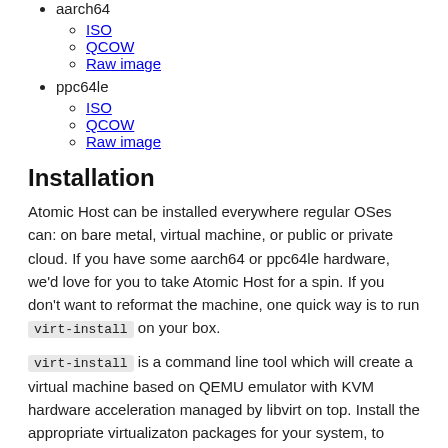aarch64
ISO
QCOW
Raw image
ppc64le
ISO
QCOW
Raw image
Installation
Atomic Host can be installed everywhere regular OSes can: on bare metal, virtual machine, or public or private cloud. If you have some aarch64 or ppc64le hardware, we’d love for you to take Atomic Host for a spin. If you don’t want to reformat the machine, one quick way is to run virt-install on your box.
virt-install is a command line tool which will create a virtual machine based on QEMU emulator with KVM hardware acceleration managed by libvirt on top. Install the appropriate virtualizaton packages for your system, to create and access